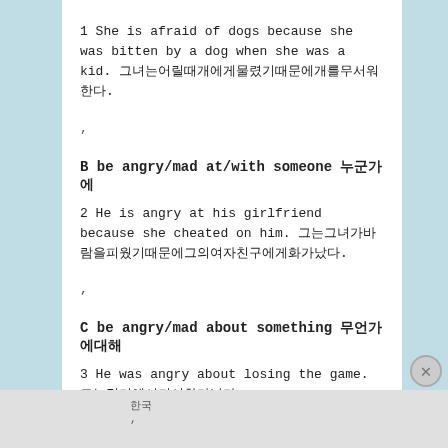1 She is afraid of dogs because she was bitten by a dog when she was a kid. 그녀는 어릴 때 개에게 물렸기 때문에 개를 무서워한다.
,
B be angry/mad at/with someone 누군가에게
2 He is angry at his girlfriend because she cheated on him. 그는 그녀가 바람을 피웠기 때문에 그의 여자친구에게 화가 났다.
,
C be angry/mad about something 무언가에 대해
3 He was angry about losing the game. 그는 경기에서 져서 화가 났다.
한국